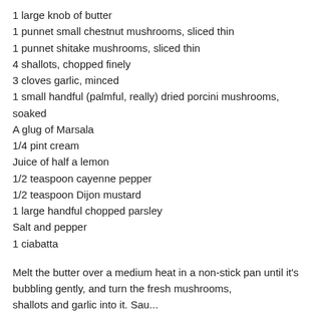1 large knob of butter
1 punnet small chestnut mushrooms, sliced thin
1 punnet shitake mushrooms, sliced thin
4 shallots, chopped finely
3 cloves garlic, minced
1 small handful (palmful, really) dried porcini mushrooms, soaked
A glug of Marsala
1/4 pint cream
Juice of half a lemon
1/2 teaspoon cayenne pepper
1/2 teaspoon Dijon mustard
1 large handful chopped parsley
Salt and pepper
1 ciabatta
Melt the butter over a medium heat in a non-stick pan until it's bubbling gently, and turn the fresh mushrooms, shallots and garlic into it. Saute until softened, then add the...